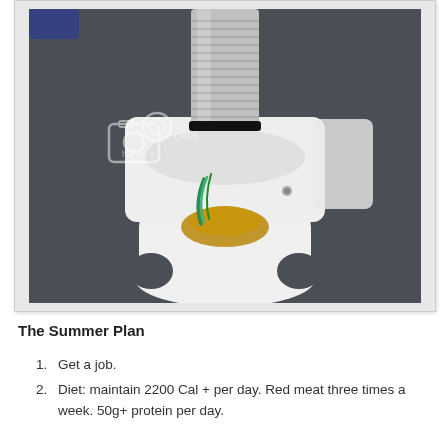[Figure (photo): A disassembled kitchen appliance (appears to be a blender or mixer base) showing internal wiring (green and copper wires visible) with a metallic threaded canister or tin can inserted from the top, sitting on a grey carpet background. A photobucket watermark is visible on the image.]
The Summer Plan
Get a job.
Diet: maintain 2200 Cal + per day. Red meat three times a week. 50g+ protein per day.